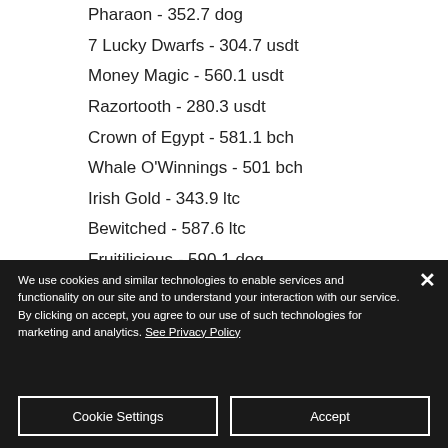Pharaon - 352.7 dog
7 Lucky Dwarfs - 304.7 usdt
Money Magic - 560.1 usdt
Razortooth - 280.3 usdt
Crown of Egypt - 581.1 bch
Whale O'Winnings - 501 bch
Irish Gold - 343.9 ltc
Bewitched - 587.6 ltc
Fruitilicious - 590.1 dog
Pin Up Girls - 410.6 ltc
Maaax Diamonds - 369.8 eth
Devil's Heat - 115 ltc
Mystic Moon - 454.5 btc
We use cookies and similar technologies to enable services and functionality on our site and to understand your interaction with our service. By clicking on accept, you agree to our use of such technologies for marketing and analytics. See Privacy Policy
Cookie Settings
Accept